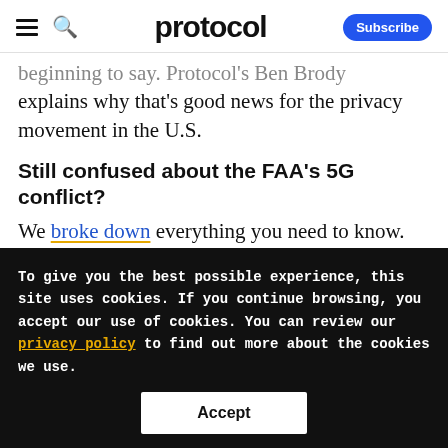protocol — Subscribe
beginning to say. Protocol's Ben Brody explains why that's good news for the privacy movement in the U.S.
Still confused about the FAA's 5G conflict?
We broke down everything you need to know. The TL;DR: Everything turned out OK, but the conflict highlights a bigger
To give you the best possible experience, this site uses cookies. If you continue browsing, you accept our use of cookies. You can review our privacy policy to find out more about the cookies we use.
Accept